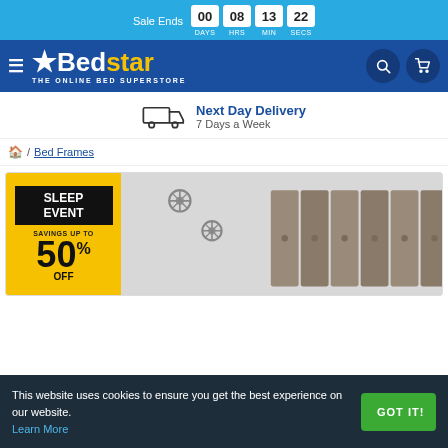Sale Ends 00 DAYS 08 HRS 13 MIN 22 SECS
[Figure (logo): Bedstar - The Online Bed Superstore logo with star icon, white and yellow text on blue background, with search and cart icons]
Next Day Delivery 7 Days a Week
/ Bed Frames
[Figure (infographic): Sleep Event banner with black box saying SLEEP EVENT, savings up to 50% OFF in yellow, alongside a photo of a silver/grey upholstered headboard with decorative flower accessories on a grey wall]
This website uses cookies to ensure you get the best experience on our website. Learn More GOT IT!